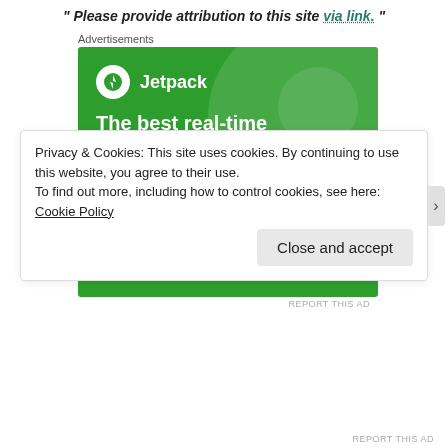" Please provide attribution to this site via link. "
Advertisements
[Figure (illustration): Jetpack advertisement banner with green background showing logo, headline 'The best real-time WordPress backup plugin' and a 'Back up your site' button]
REPORT THIS AD
Privacy & Cookies: This site uses cookies. By continuing to use this website, you agree to their use.
To find out more, including how to control cookies, see here: Cookie Policy
Close and accept
REPORT THIS AD